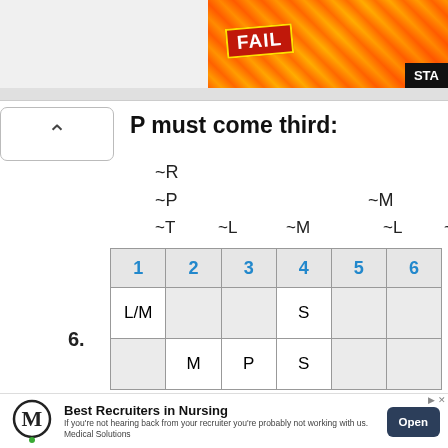[Figure (screenshot): Partial top-right advertisement banner with 'FAIL' and 'STA' text on a fiery background with cartoon character]
P must come third:
~R
~P                                ~M
~T    ~L    ~M         ~L    ~L
| 1 | 2 | 3 | 4 | 5 | 6 |
| --- | --- | --- | --- | --- | --- |
| L/M |  |  | S |  |  |
|  | M | P | S |  |  |
6.
[Figure (screenshot): Advertisement: 'Best Recruiters in Nursing' by Medical Solutions with Open button]